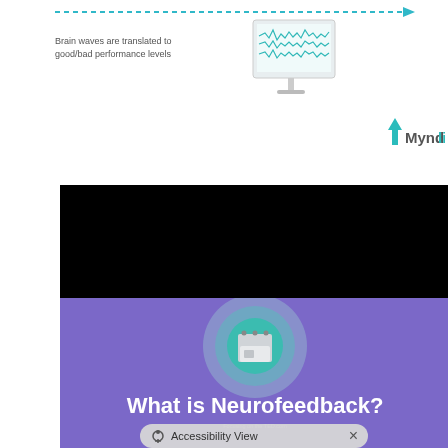[Figure (infographic): Dotted teal arrow line with text 'Brain waves are translated to good/bad performance levels' pointing to a computer monitor showing EEG waveforms, with Myndlift logo in upper right]
[Figure (screenshot): Black video player area (top portion of embedded video)]
[Figure (screenshot): Purple background portion of video showing circular teal/green EEG device icon with text 'What is Neurofeedback?' in white and small TED talk caption below]
Accessibility View